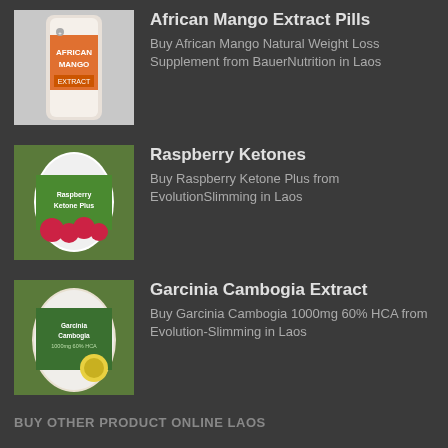[Figure (photo): African Mango Extract Pills product bottle image]
African Mango Extract Pills
Buy African Mango Natural Weight Loss Supplement from BauerNutrition in Laos
[Figure (photo): Raspberry Ketones supplement jar with raspberries]
Raspberry Ketones
Buy Raspberry Ketone Plus from EvolutionSlimming in Laos
[Figure (photo): Garcinia Cambogia Extract supplement jar]
Garcinia Cambogia Extract
Buy Garcinia Cambogia 1000mg 60% HCA from Evolution-Slimming in Laos
BUY OTHER PRODUCT ONLINE LAOS
Saffron Extract
Anavar Steroids
African Mango Extract Pills
Raspberry Ketones